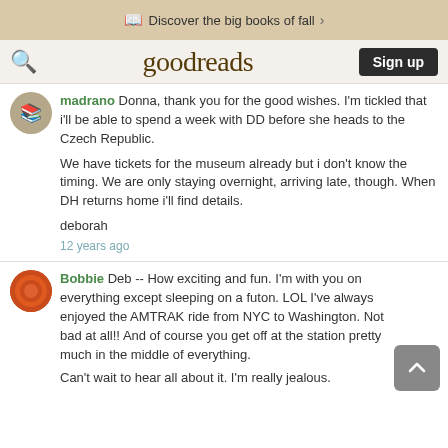Discover the big books of fall
goodreads — Sign up
madrano Donna, thank you for the good wishes. I'm tickled that i'll be able to spend a week with DD before she heads to the Czech Republic.

We have tickets for the museum already but i don't know the timing. We are only staying overnight, arriving late, though. When DH returns home i'll find details.

deborah
12 years ago
Bobbie Deb -- How exciting and fun. I'm with you on everything except sleeping on a futon. LOL I've always enjoyed the AMTRAK ride from NYC to Washington. Not bad at all!! And of course you get off at the station pretty much in the middle of everything.
Can't wait to hear all about it. I'm really jealous.